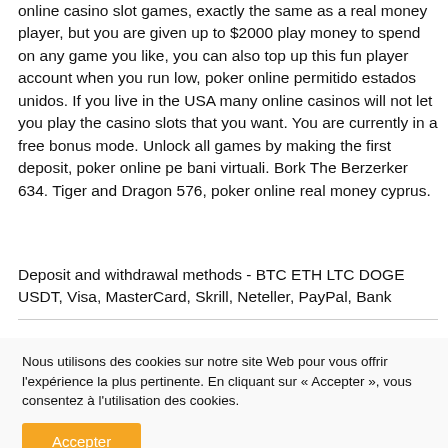online casino slot games, exactly the same as a real money player, but you are given up to $2000 play money to spend on any game you like, you can also top up this fun player account when you run low, poker online permitido estados unidos. If you live in the USA many online casinos will not let you play the casino slots that you want. You are currently in a free bonus mode. Unlock all games by making the first deposit, poker online pe bani virtuali. Bork The Berzerker 634. Tiger and Dragon 576, poker online real money cyprus.
Deposit and withdrawal methods - BTC ETH LTC DOGE USDT, Visa, MasterCard, Skrill, Neteller, PayPal, Bank
Nous utilisons des cookies sur notre site Web pour vous offrir l'expérience la plus pertinente. En cliquant sur « Accepter », vous consentez à l'utilisation des cookies.
Accepter